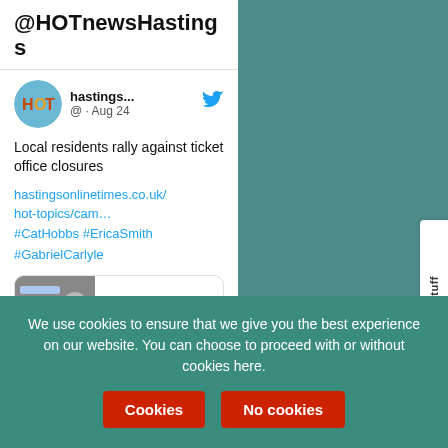@HOTnewsHastings
[Figure (screenshot): Twitter/social media card showing hastings... account with blue bird icon, handle @ · Aug 24]
Local residents rally against ticket office closures
hastingsonlinetimes.co.uk/hot-topics/cam… #CatHobbs #EricaSmith #GabrielCarlyle
More HOT Stuff
We use cookies to ensure that we give you the best experience on our website. You can choose to proceed with or without cookies here.
Cookies
No cookies